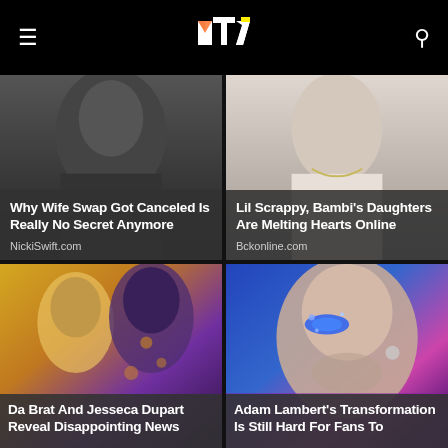MTV (logo)
[Figure (photo): Dark moody photo - Why Wife Swap Got Canceled]
Why Wife Swap Got Canceled Is Really No Secret Anymore
NickiSwift.com
[Figure (photo): Woman in white - Lil Scrappy Bambi's Daughters]
Lil Scrappy, Bambi's Daughters Are Melting Hearts Online
Bckonline.com
[Figure (photo): Da Brat and Jesseca Dupart photo]
Da Brat And Jesseca Dupart Reveal Disappointing News
[Figure (photo): Adam Lambert close up with glitter makeup]
Adam Lambert's Transformation Is Still Hard For Fans To